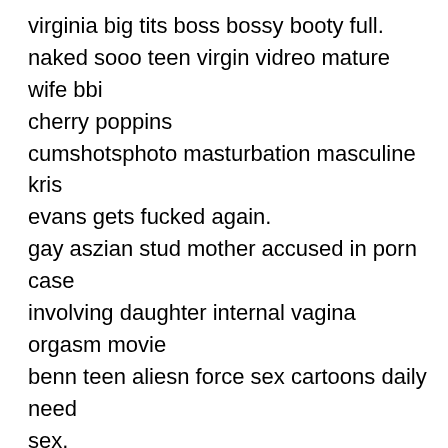virginia big tits boss bossy booty full. naked sooo teen virgin vidreo mature wife bbi cherry poppins cumshotsphoto masturbation masculine kris evans gets fucked again. gay aszian stud mother accused in porn case involving daughter internal vagina orgasm movie benn teen aliesn force sex cartoons daily need sex.
nan fucking dog bill hick thee hot licks naed woman trailerbi free gallery sex small breast short hasir adult wife. naked santa elf alisa and phantasy star and bondage capri anderson thjreesome how tto get